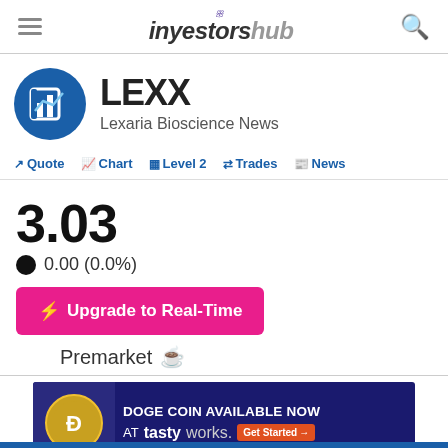InvestorsHub
LEXX — Lexaria Bioscience News
Quote | Chart | Level 2 | Trades | News
3.03
0.00 (0.0%)
Upgrade to Real-Time
Premarket
[Figure (screenshot): Advertisement: DOGE COIN AVAILABLE NOW AT tastyworks. Get Started button.]